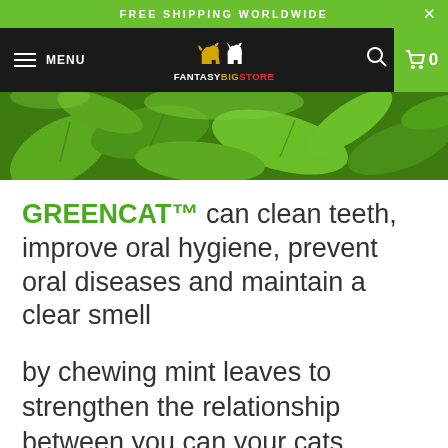FREE SHIPPING WORLDWIDE
[Figure (screenshot): Website navigation bar with hamburger menu, MENU text, FantasyBigStore logo with dog and cat icons, search icon, and green cart button showing 0 items]
[Figure (photo): Close-up photo of green mint/catnip leaves]
GREENCAT™ can clean teeth, improve oral hygiene, prevent oral diseases and maintain a clear smell
by chewing mint leaves to strengthen the relationship between you can your cats.